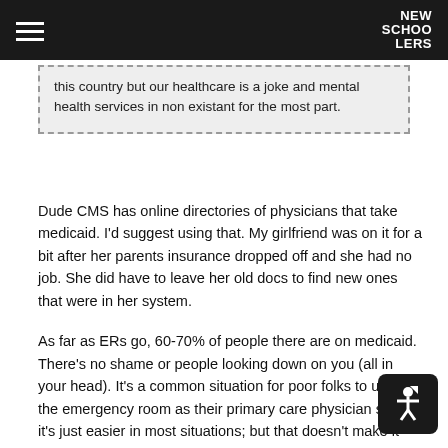NEW SCHOOLERS
this country but our healthcare is a joke and mental health services in non existant for the most part.
Dude CMS has online directories of physicians that take medicaid. I'd suggest using that. My girlfriend was on it for a bit after her parents insurance dropped off and she had no job. She did have to leave her old docs to find new ones that were in her system.
As far as ERs go, 60-70% of people there are on medicaid. There's no shame or people looking down on you (all in your head). It's a common situation for poor folks to utilize the emergency room as their primary care physician since it's just easier in most situations; but that doesn't make it right. In fact it wastes billions of healthcare dollars each year. To avoid waiting, I'd suggest finding a primary care physician and using them for routine and non-emergency illnesses. Use urgent care facilities for anything that your pcp won't cover. Urgent cares do a lot- pretty much anything short of a broken bone. They even do stitches. The